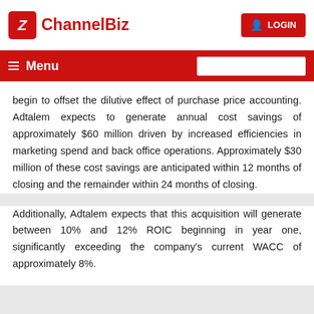ChannelBiz | LOGIN
Menu
begin to offset the dilutive effect of purchase price accounting. Adtalem expects to generate annual cost savings of approximately $60 million driven by increased efficiencies in marketing spend and back office operations. Approximately $30 million of these cost savings are anticipated within 12 months of closing and the remainder within 24 months of closing.
Additionally, Adtalem expects that this acquisition will generate between 10% and 12% ROIC beginning in year one, significantly exceeding the company's current WACC of approximately 8%.